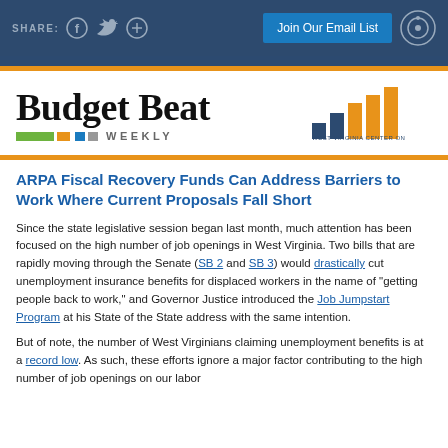SHARE: [facebook] [twitter] [+] | Join Our Email List | [icon]
[Figure (logo): Budget Beat Weekly logo with colored blocks and West Virginia Center on Budget & Policy bar chart logo]
ARPA Fiscal Recovery Funds Can Address Barriers to Work Where Current Proposals Fall Short
Since the state legislative session began last month, much attention has been focused on the high number of job openings in West Virginia. Two bills that are rapidly moving through the Senate (SB 2 and SB 3) would drastically cut unemployment insurance benefits for displaced workers in the name of "getting people back to work," and Governor Justice introduced the Job Jumpstart Program at his State of the State address with the same intention.
But of note, the number of West Virginians claiming unemployment benefits is at a record low. As such, these efforts ignore a major factor contributing to the high number of job openings on our labor...